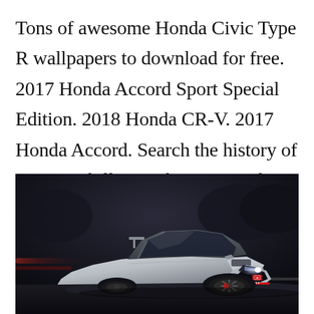Tons of awesome Honda Civic Type R wallpapers to download for free. 2017 Honda Accord Sport Special Edition. 2018 Honda CR-V. 2017 Honda Accord. Search the history of over 349 billion web pages on the internet.
[Figure (photo): Honda Civic Type R silver/grey sports hatchback car photographed on a racetrack at night, low angle front-three-quarter view, dark moody background with blurred motion]